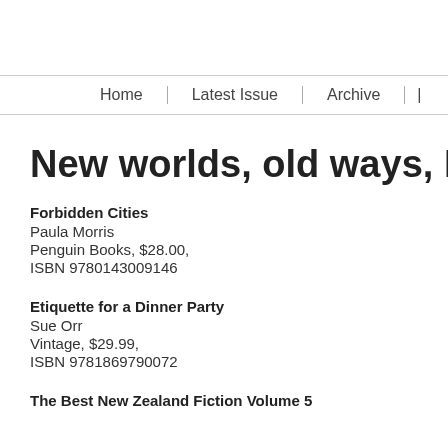Home | Latest Issue | Archive |
New worlds, old ways, Elspeth S
Forbidden Cities
Paula Morris
Penguin Books, $28.00,
ISBN 9780143009146
Etiquette for a Dinner Party
Sue Orr
Vintage, $29.99,
ISBN 9781869790072
The Best New Zealand Fiction Volume 5